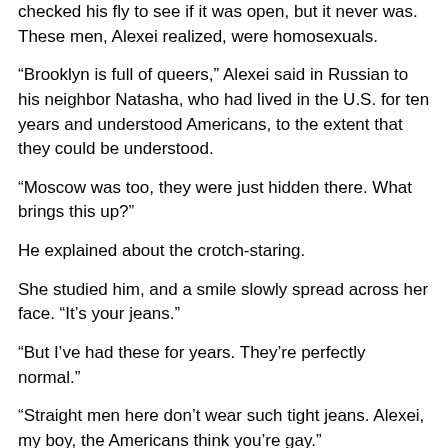checked his fly to see if it was open, but it never was. These men, Alexei realized, were homosexuals.
“Brooklyn is full of queers,” Alexei said in Russian to his neighbor Natasha, who had lived in the U.S. for ten years and understood Americans, to the extent that they could be understood.
“Moscow was too, they were just hidden there. What brings this up?”
He explained about the crotch-staring.
She studied him, and a smile slowly spread across her face. “It’s your jeans.”
“But I’ve had these for years. They’re perfectly normal.”
“Straight men here don’t wear such tight jeans. Alexei, my boy, the Americans think you’re gay.”
“They would stereotype me that way?” Alexei’s mouth dropped open in horror. “What judgmental people these fat